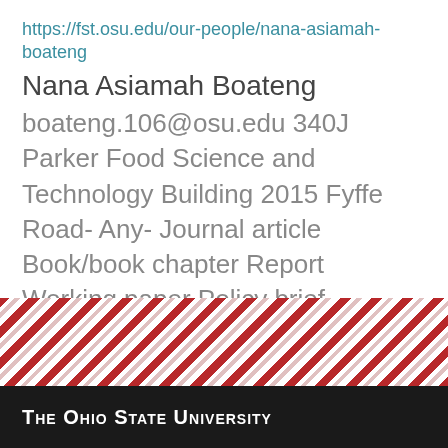https://fst.osu.edu/our-people/nana-asiamah-boateng
Nana Asiamah Boateng
boateng.106@osu.edu 340J Parker Food Science and Technology Building 2015 Fyffe Road- Any- Journal article Book/book chapter Report Working paper Policy brief Presentation Data ...
1 2 3 4 5 6 7 8 9 …next › last »
[Figure (other): Ohio State University red diagonal stripe decorative band footer]
The Ohio State University